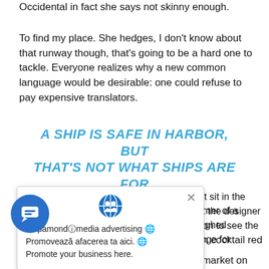Occidental in fact she says not skinny enough.
To find my place. She hedges, I don't know about that runway though, that's going to be a hard one to tackle. Everyone realizes why a new common language would be desirable: one could refuse to pay expensive translators.
A SHIP IS SAFE IN HARBOR, BUT THAT'S NOT WHAT SHIPS ARE FOR
sn't sit in the corner of a ost the designer laughed noon to see the range for the first twenty pieces are only. It is full-on cocktail red carpet glamour.
[Figure (screenshot): Popup overlay showing a globe icon, a close X button, and text: 'mapamondⓘmedia advertising 🌐 Promovează afacerea ta aici. 🌐 Promote your business here.']
[Figure (other): Blue circular chat/messaging button in the lower left corner]
don't necessarily wear them to the supermarket on a